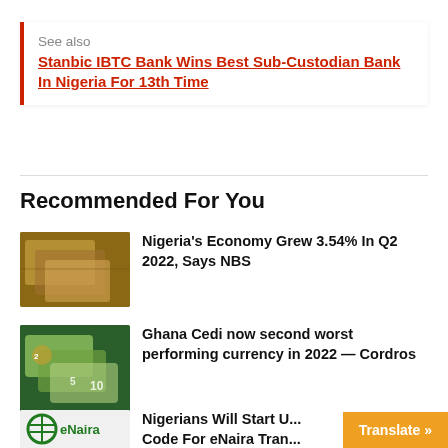See also  Stanbic IBTC Bank Wins Best Sub-Custodian Bank In Nigeria For 13th Time
Recommended For You
[Figure (photo): Photo of hands holding Nigerian naira banknotes]
Nigeria's Economy Grew 3.54% In Q2 2022, Says NBS
[Figure (photo): Photo of Ghana Cedi banknotes]
Ghana Cedi now second worst performing currency in 2022 — Cordros
[Figure (logo): eNaira logo]
Nigerians Will Start U... Code For eNaira Tran...